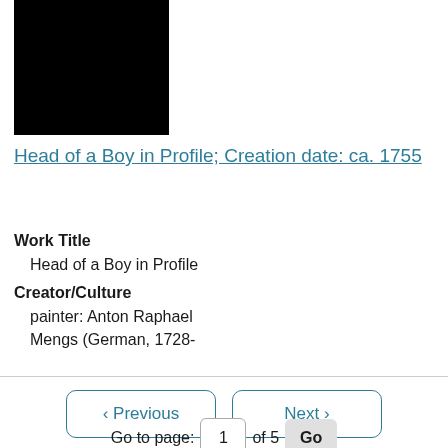[Figure (photo): Black redacted/blocked image square]
Head of a Boy in Profile; Creation date: ca. 1755
Work Title
Head of a Boy in Profile
Creator/Culture
painter: Anton Raphael Mengs (German, 1728-
< Previous   Next >
Go to page: 1 of 5 Go